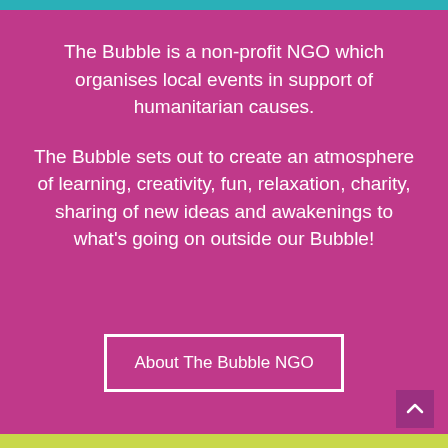The Bubble is a non-profit NGO which organises local events in support of humanitarian causes.
The Bubble sets out to create an atmosphere of learning, creativity, fun, relaxation, charity, sharing of new ideas and awakenings to what's going on outside our Bubble!
About The Bubble NGO